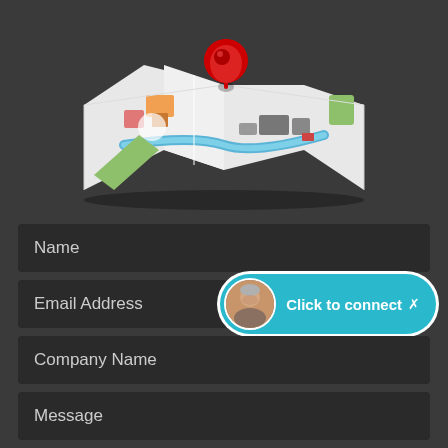[Figure (illustration): A folded paper map with colorful streets and buildings, with a large red location pin marker on top]
Name
Email Address
[Figure (other): A teal rounded button with a circular avatar photo of a man and the text 'Click to connect' with an arrow]
Company Name
Message